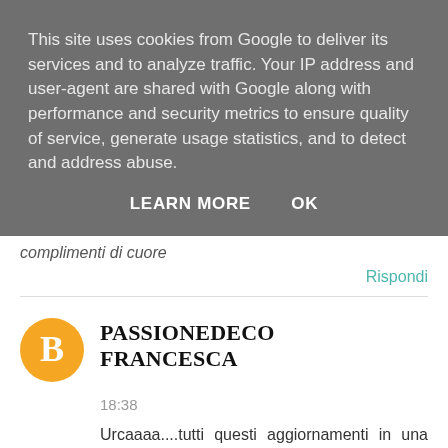This site uses cookies from Google to deliver its services and to analyze traffic. Your IP address and user-agent are shared with Google along with performance and security metrics to ensure quality of service, generate usage statistics, and to detect and address abuse.
LEARN MORE    OK
complimenti di cuore
Rispondi
[Figure (logo): Blogger orange circle avatar icon with white B letter]
PASSIONEDECO FRANCESCA
18:38
Urcaaaa....tutti questi aggiornamenti in una volta sola??!! Roba che partorisco qui!